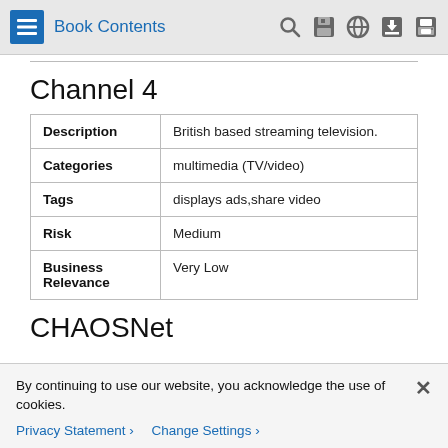Book Contents
Channel 4
|  |  |
| --- | --- |
| Description | British based streaming television. |
| Categories | multimedia (TV/video) |
| Tags | displays ads,share video |
| Risk | Medium |
| Business Relevance | Very Low |
CHAOSNet
By continuing to use our website, you acknowledge the use of cookies.
Privacy Statement > Change Settings >